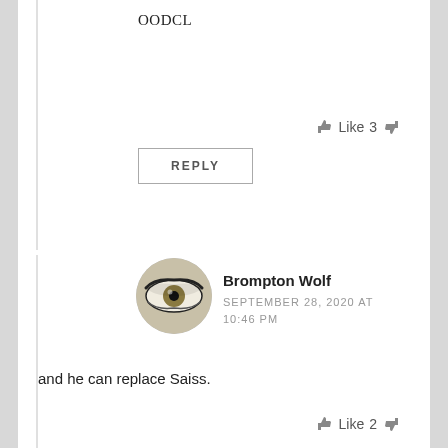OODCL
Like 3
REPLY
Brompton Wolf
SEPTEMBER 28, 2020 AT 10:46 PM
and he can replace Saiss.
Like 2
REPLY
StuWolf